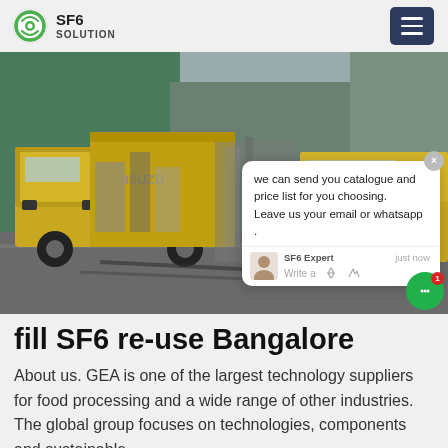[Figure (logo): SF6 Solution logo with circular green icon and text 'SF6 SOLUTION']
[Figure (photo): Yellow ISUZU trucks loaded with industrial equipment parked in a facility yard. A chat popup overlay is visible on the right side of the image with message: 'we can send you catalogue and price list for you choosing. Leave us your email or whatsapp.' attributed to SF6 Expert, just now.]
fill SF6 re-use Bangalore
About us. GEA is one of the largest technology suppliers for food processing and a wide range of other industries. The global group focuses on technologies, components and sustainable